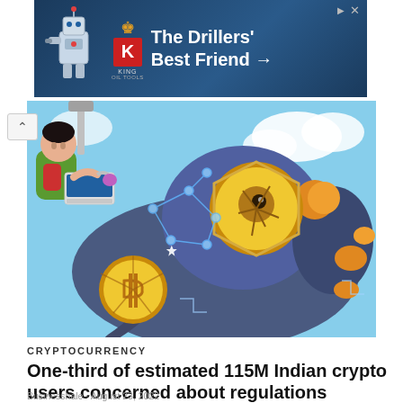[Figure (illustration): Advertisement banner for King Oil Tools: 'The Drillers' Best Friend →' with robot mascot and red K logo on dark blue background]
[Figure (illustration): Colorful digital illustration of an Indian elephant decorated with blue blockchain/crypto symbols and golden Bitcoin coins, with a person in green using a laptop, against a sky-blue background]
CRYPTOCURRENCY
One-third of estimated 115M Indian crypto users concerned about regulations
Businesshale  ·  August 23, 2022